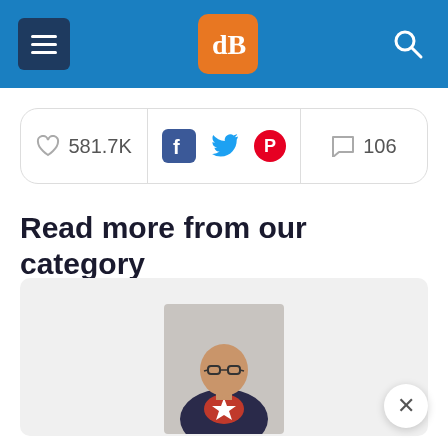dB logo header with menu and search
581.7K likes · social sharing (Facebook, Twitter, Pinterest) · 106 comments
Read more from our category
[Figure (photo): Photo of Darren Rowse, bald man with glasses wearing a dark blazer over a Captain America-style shirt, posed with arms crossed]
Darren Rowse is the editor and founder of Digital